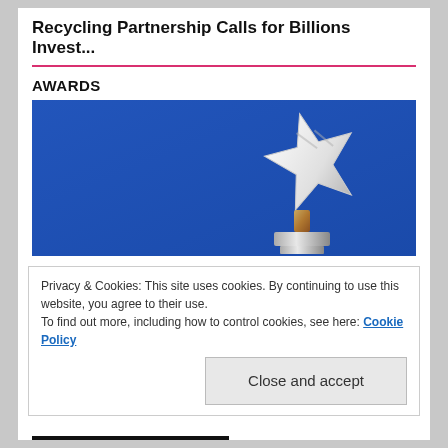Recycling Partnership Calls for Billions Invest...
AWARDS
[Figure (photo): A silver star-shaped award trophy on a blue background]
Privacy & Cookies: This site uses cookies. By continuing to use this website, you agree to their use.
To find out more, including how to control cookies, see here: Cookie Policy
Close and accept
JOIN NEWSLETTER